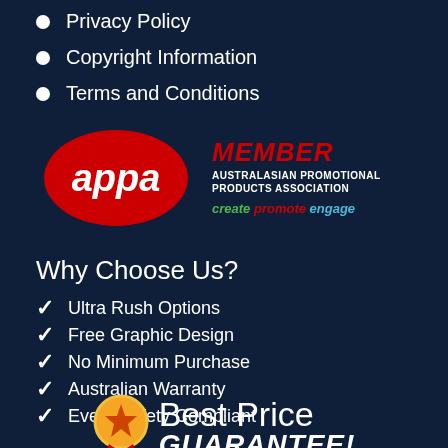Privacy Policy
Copyright Information
Terms and Conditions
[Figure (logo): APPA Member logo - Australasian Promotional Products Association with tagline 'create promote engage']
Why Choose Us?
Ultra Rush Options
Free Graphic Design
No Minimum Purchase
Australian Warranty
Event Safety Compliant
[Figure (illustration): Best Price Guarantee badge with gold medal/star icon]